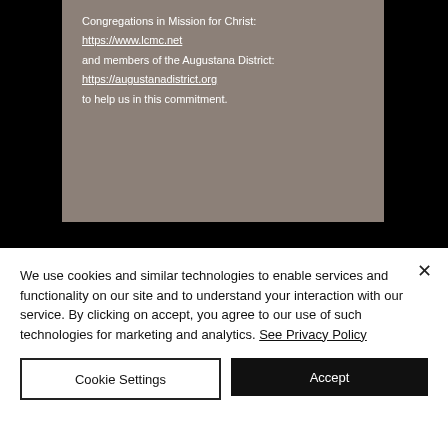[Figure (screenshot): A gray card on a black background showing text about Congregations in Mission for Christ and Augustana District with URLs.]
Congregations in Mission for Christ:
https://www.lcmc.net
and members of the Augustana District:
https://augustanadistrict.org
to help us in this commitment.
We use cookies and similar technologies to enable services and functionality on our site and to understand your interaction with our service. By clicking on accept, you agree to our use of such technologies for marketing and analytics. See Privacy Policy
Cookie Settings
Accept